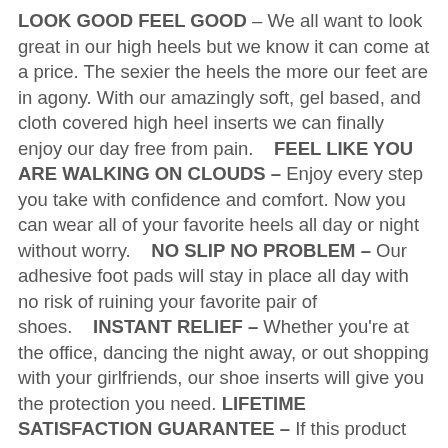LOOK GOOD FEEL GOOD – We all want to look great in our high heels but we know it can come at a price. The sexier the heels the more our feet are in agony. With our amazingly soft, gel based, and cloth covered high heel inserts we can finally enjoy our day free from pain.    FEEL LIKE YOU ARE WALKING ON CLOUDS – Enjoy every step you take with confidence and comfort. Now you can wear all of your favorite heels all day or night without worry.    NO SLIP NO PROBLEM – Our adhesive foot pads will stay in place all day with no risk of ruining your favorite pair of shoes.    INSTANT RELIEF – Whether you're at the office, dancing the night away, or out shopping with your girlfriends, our shoe inserts will give you the protection you need. LIFETIME SATISFACTION GUARANTEE – If this product does not relieve your ball of foot pain simply let us know and we will refund you in full! No Questions Asked. We stand behind our product and we know that it will help you.